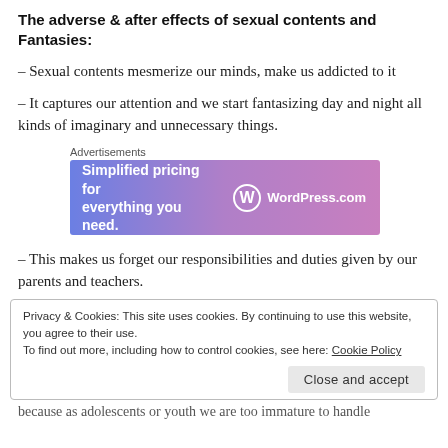The adverse & after effects of sexual contents and Fantasies:
– Sexual contents mesmerize our minds, make us addicted to it
– It captures our attention and we start fantasizing day and night all kinds of imaginary and unnecessary things.
[Figure (other): WordPress.com advertisement banner: 'Simplified pricing for everything you need.' with WordPress.com logo on gradient blue-purple background]
– This makes us forget our responsibilities and duties given by our parents and teachers.
Privacy & Cookies: This site uses cookies. By continuing to use this website, you agree to their use.
To find out more, including how to control cookies, see here: Cookie Policy
because as adolescents or youth we are too immature to handle